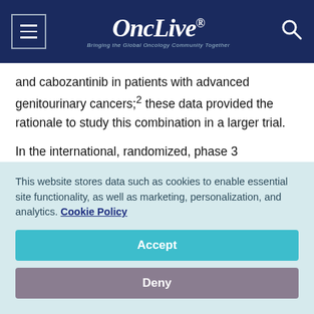OncLive® — Bringing the Global Oncology Community Together
and cabozantinib in patients with advanced genitourinary cancers;2 these data provided the rationale to study this combination in a larger trial.
In the international, randomized, phase 3 CheckMate-9ER trial, 651 patients with advanced RCC received the combination of nivolumab and
This website stores data such as cookies to enable essential site functionality, as well as marketing, personalization, and analytics. Cookie Policy
Accept
Deny